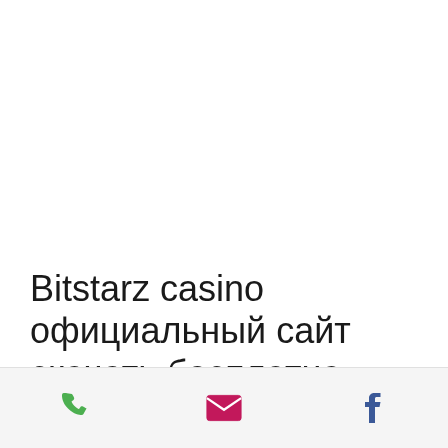Bitstarz casino официальный сайт скачать бесплатно
CryptoAddicted has no fees. You will surely
[Figure (infographic): Bottom action bar with three icons: green phone icon, magenta/pink mail envelope icon, and blue Facebook icon]